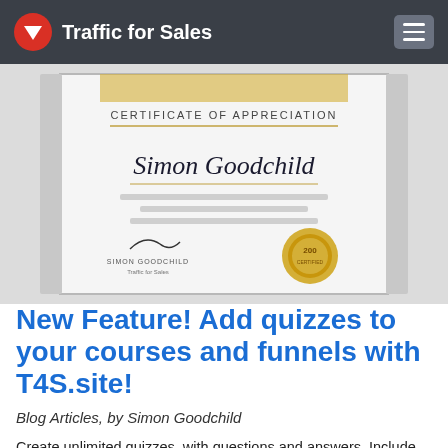Traffic for Sales
[Figure (photo): Certificate of Appreciation for Simon Goodchild with decorative border, script name, signature, and gold seal]
New Feature! Add quizzes to your courses and funnels with T4S.site!
Blog Articles, by Simon Goodchild
Create unlimited quizzes, with questions and answers. Include results for your members and generate certificates their name for downloading.
Posted March 19, 2019